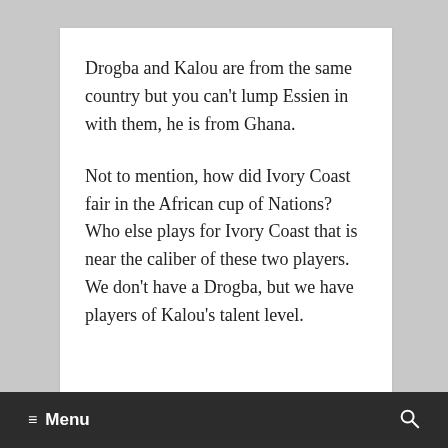Drogba and Kalou are from the same country but you can't lump Essien in with them, he is from Ghana.
Not to mention, how did Ivory Coast fair in the African cup of Nations? Who else plays for Ivory Coast that is near the caliber of these two players. We don't have a Drogba, but we have players of Kalou's talent level.
Reply
≡ Menu